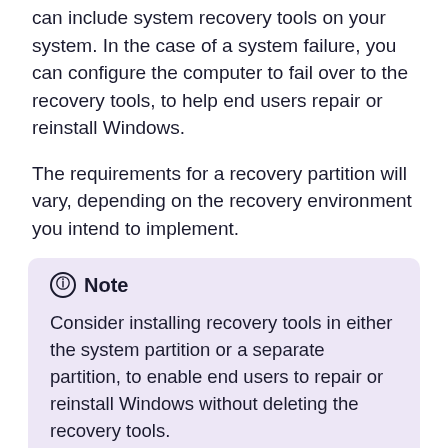can include system recovery tools on your system. In the case of a system failure, you can configure the computer to fail over to the recovery tools, to help end users repair or reinstall Windows.
The requirements for a recovery partition will vary, depending on the recovery environment you intend to implement.
Note
Consider installing recovery tools in either the system partition or a separate partition, to enable end users to repair or reinstall Windows without deleting the recovery tools.
To discourage users from accidentally modifying or deleting the partition:
To discourage users from accidentally modifying or deleting the partition: